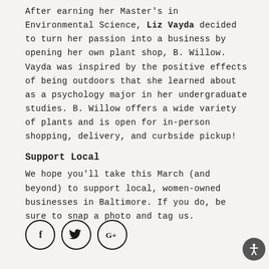After earning her Master's in Environmental Science, Liz Vayda decided to turn her passion into a business by opening her own plant shop, B. Willow. Vayda was inspired by the positive effects of being outdoors that she learned about as a psychology major in her undergraduate studies. B. Willow offers a wide variety of plants and is open for in-person shopping, delivery, and curbside pickup!
Support Local
We hope you'll take this March (and beyond) to support local, women-owned businesses in Baltimore. If you do, be sure to snap a photo and tag us.
[Figure (illustration): Three social media icon circles: Facebook (f), Twitter (bird), Google+ (G+)]